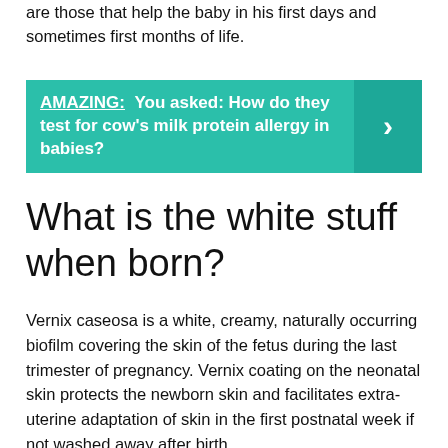are those that help the baby in his first days and sometimes first months of life.
[Figure (infographic): Teal banner with bold white text: 'AMAZING: You asked: How do they test for cow's milk protein allergy in babies?' with a right-pointing arrow chevron on the right side.]
What is the white stuff when born?
Vernix caseosa is a white, creamy, naturally occurring biofilm covering the skin of the fetus during the last trimester of pregnancy. Vernix coating on the neonatal skin protects the newborn skin and facilitates extra-uterine adaptation of skin in the first postnatal week if not washed away after birth.